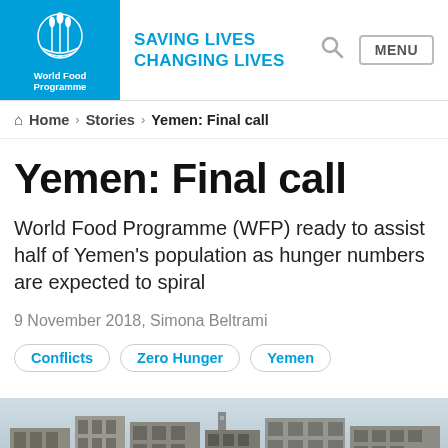WFP World Food Programme | SAVING LIVES CHANGING LIVES | MENU
Home > Stories > Yemen: Final call
Yemen: Final call
World Food Programme (WFP) ready to assist half of Yemen's population as hunger numbers are expected to spiral
9 November 2018, Simona Beltrami
Conflicts
Zero Hunger
Yemen
[Figure (photo): Photo of damaged/destroyed buildings in Yemen]